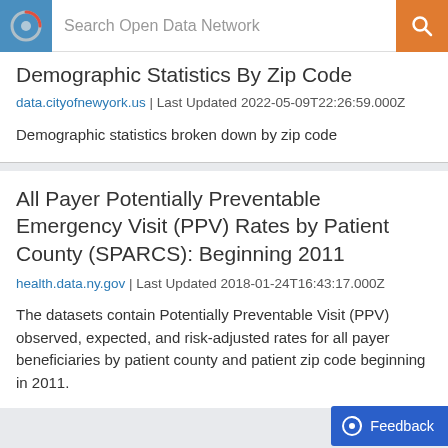Search Open Data Network
Demographic Statistics By Zip Code
data.cityofnewyork.us | Last Updated 2022-05-09T22:26:59.000Z
Demographic statistics broken down by zip code
All Payer Potentially Preventable Emergency Visit (PPV) Rates by Patient County (SPARCS): Beginning 2011
health.data.ny.gov | Last Updated 2018-01-24T16:43:17.000Z
The datasets contain Potentially Preventable Visit (PPV) observed, expected, and risk-adjusted rates for all payer beneficiaries by patient county and patient zip code beginning in 2011.